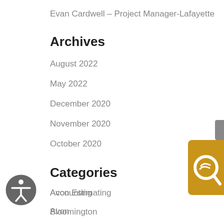Evan Cardwell – Project Manager-Lafayette
Archives
August 2022
May 2022
December 2020
November 2020
October 2020
Categories
Accounting
Avon
Avon Estimating
Bloomington